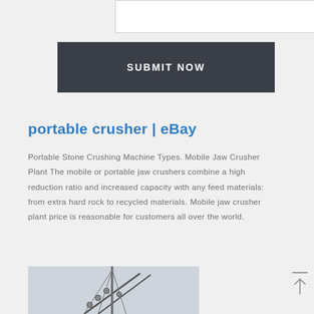[Figure (screenshot): White input box at top of form]
SUBMIT NOW
portable crusher | eBay
Portable Stone Crushing Machine Types. Mobile Jaw Crusher Plant The mobile or portable jaw crushers combine a high reduction ratio and increased capacity with any feed materials: from extra hard rock to recycled materials. Mobile jaw crusher plant price is reasonable for customers all over the world.
[Figure (photo): Partial photo of a crane or portable crusher machinery structure against a light sky background]